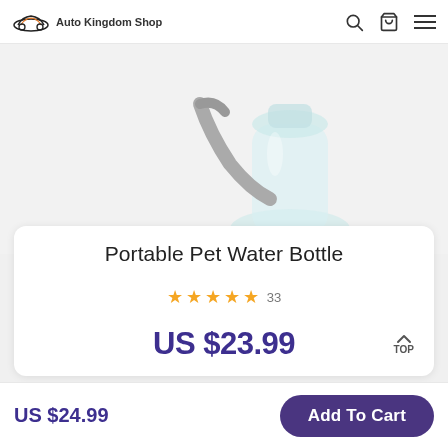Auto Kingdom Shop
[Figure (photo): Partial view of a transparent portable pet water bottle with gray strap/clip, on white background]
Portable Pet Water Bottle
★★★★★ 33
US $23.99
US $24.99
Add To Cart